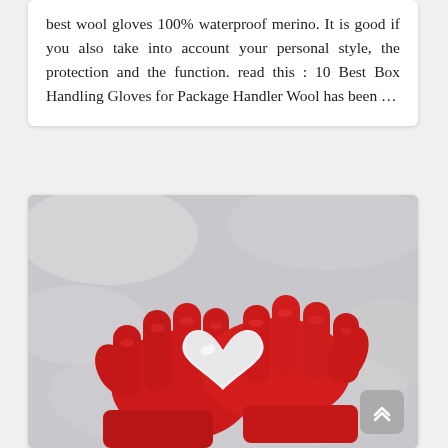best wool gloves 100% waterproof merino. It is good if you also take into account your personal style, the protection and the function. read this : 10 Best Box Handling Gloves for Package Handler Wool has been ...
[Figure (photo): Two hands wearing red wool gloves cupping a small white heart-shaped snowball, set against a snowy background.]